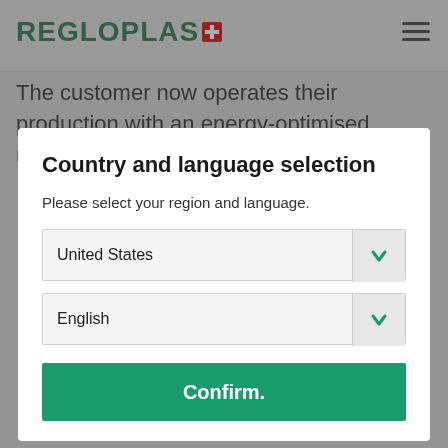REGLOPLAS
The customer now operates their production with an energy-optimised, reproducible process that was
Country and language selection
Please select your region and language.
United States
English
Confirm.